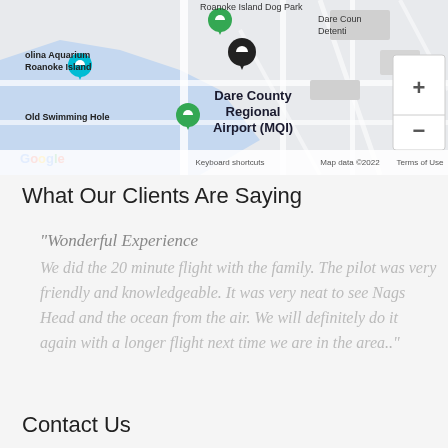[Figure (map): Google Maps screenshot showing Dare County Regional Airport (MQI) on Roanoke Island, NC. Visible landmarks include Carolina Aquarium on Roanoke Island, Old Swimming Hole, Roanoke Island Dog Park, and Dare County Detention Center. Map controls (zoom in/out) visible in upper right. Map data ©2022 Google.]
What Our Clients Are Saying
"Wonderful Experience
We did the 20 minute flight with the family. The pilot was very friendly and knowledgeable. It was very neat to see Nags Head and the ocean from the air. We will definitely do it again with a longer flight next time we are in the area.."
Contact Us